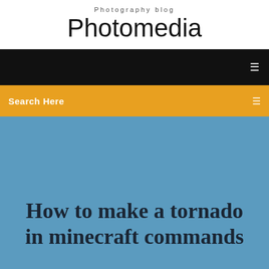Photography blog
Photomedia
[Figure (other): Black navigation bar with a small icon on the right]
Search Here
How to make a tornado in minecraft commands